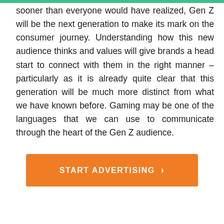sooner than everyone would have realized, Gen Z will be the next generation to make its mark on the consumer journey. Understanding how this new audience thinks and values will give brands a head start to connect with them in the right manner – particularly as it is already quite clear that this generation will be much more distinct from what we have known before. Gaming may be one of the languages that we can use to communicate through the heart of the Gen Z audience.
[Figure (other): Orange call-to-action button with text 'START ADVERTISING' and a right-pointing chevron arrow]